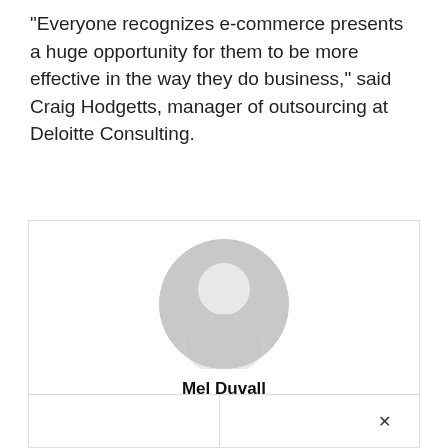“Everyone recognizes e-commerce presents a huge opportunity for them to be more effective in the way they do business,” said Craig Hodgetts, manager of outsourcing at Deloitte Consulting.
[Figure (illustration): Gray circular avatar/profile placeholder icon]
Mel Duvall
Contributing EditorMel Duvall is a veteran business and technology journalist, having written for a variety of daily newspapers and magazines for 17 years. Most recently he was the Business Commerce Editor for Interactive Week, and previously served as a